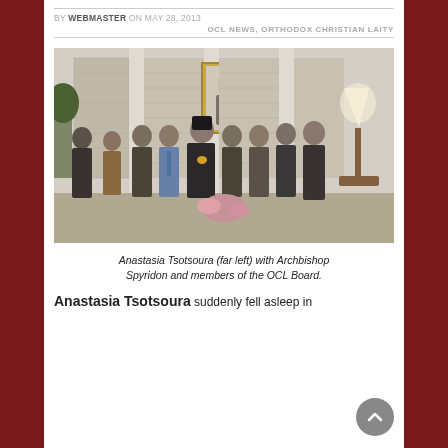BY WEBMASTER ON MAY 28, 2013
OCL NEWS, ORTHODOX CHRISTIAN LAITY
[Figure (photo): Group photo of Anastasia Tsotsoura (far left) with Archbishop Spyridon and members of the OCL Board, standing in an elegant room with a portrait painting on the wall behind them.]
Anastasia Tsotsoura (far left) with Archbishop Spyridon and members of the OCL Board.
Anastasia Tsotsoura suddenly fell asleep in